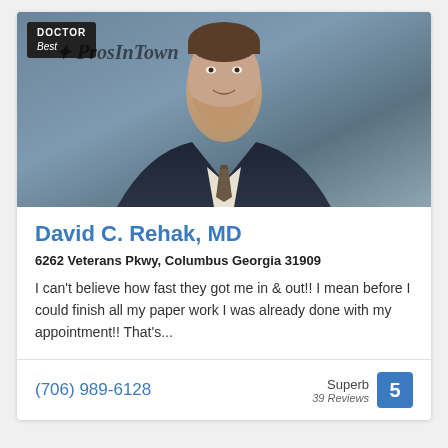[Figure (photo): Professional headshot of Dr. David C. Rehak, MD, a middle-aged man in a dark suit and patterned tie, smiling, with a watermark overlay reading 'Best ProsInTown' and a 'DOCTOR' badge in the top-left corner.]
David C. Rehak, MD
6262 Veterans Pkwy, Columbus Georgia 31909
I can't believe how fast they got me in & out!! I mean before I could finish all my paper work I was already done with my appointment!! That's...
(706) 989-6128
Superb 39 Reviews 5